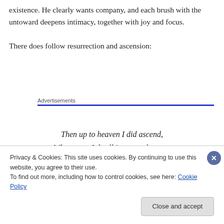existence. He clearly wants company, and each brush with the untoward deepens intimacy, together with joy and focus.
There does follow resurrection and ascension:
Advertisements
Then up to heaven I did ascend,
Where now I dwell in sure substance
On the right hand of God, that man
Privacy & Cookies: This site uses cookies. By continuing to use this website, you agree to their use.
To find out more, including how to control cookies, see here: Cookie Policy